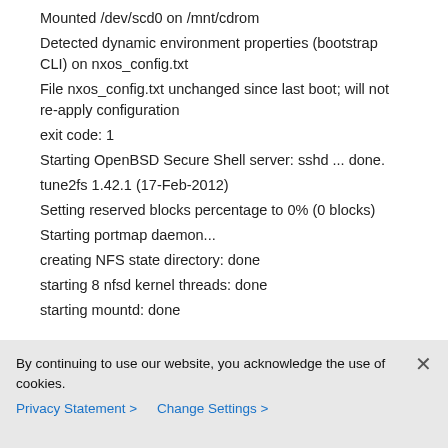Mounted /dev/scd0 on /mnt/cdrom
Detected dynamic environment properties (bootstrap CLI) on nxos_config.txt
File nxos_config.txt unchanged since last boot; will not re-apply configuration
exit code: 1
Starting OpenBSD Secure Shell server: sshd ... done.
tune2fs 1.42.1 (17-Feb-2012)
Setting reserved blocks percentage to 0% (0 blocks)
Starting portmap daemon...
creating NFS state directory: done
starting 8 nfsd kernel threads: done
starting mountd: done
By continuing to use our website, you acknowledge the use of cookies.
Privacy Statement > Change Settings >